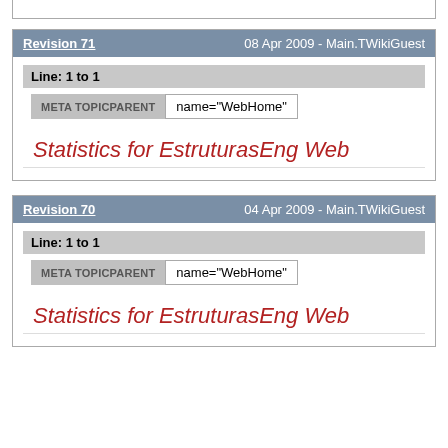Revision 71    08 Apr 2009 - Main.TWikiGuest
Line: 1 to 1
META TOPICPARENT   name="WebHome"
Statistics for EstruturasEng Web
Revision 70    04 Apr 2009 - Main.TWikiGuest
Line: 1 to 1
META TOPICPARENT   name="WebHome"
Statistics for EstruturasEng Web